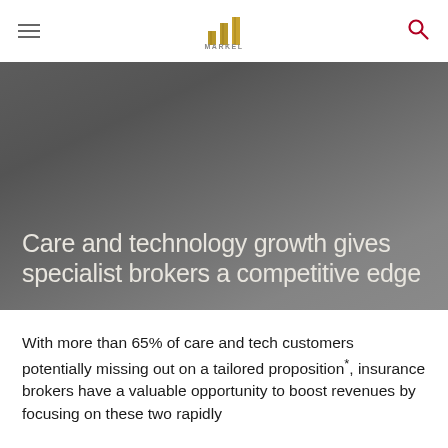Markel (logo)
Care and technology growth gives specialist brokers a competitive edge
With more than 65% of care and tech customers potentially missing out on a tailored proposition*, insurance brokers have a valuable opportunity to boost revenues by focusing on these two rapidly